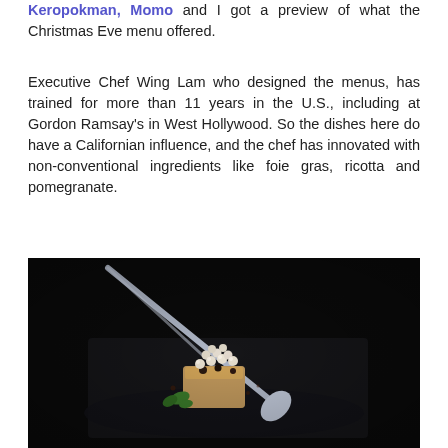Keropokman, Momo and I got a preview of what the Christmas Eve menu offered.
Executive Chef Wing Lam who designed the menus, has trained for more than 11 years in the U.S., including at Gordon Ramsay's in West Hollywood. So the dishes here do have a Californian influence, and the chef has innovated with non-conventional ingredients like foie gras, ricotta and pomegranate.
[Figure (photo): A close-up food photograph on a dark/black background showing an elegantly plated dish — appears to be foie gras topped with small white pearls/balls and possibly berries, garnished with a green herb leaf, presented with silverware (spoon/fork) on a dark plate.]